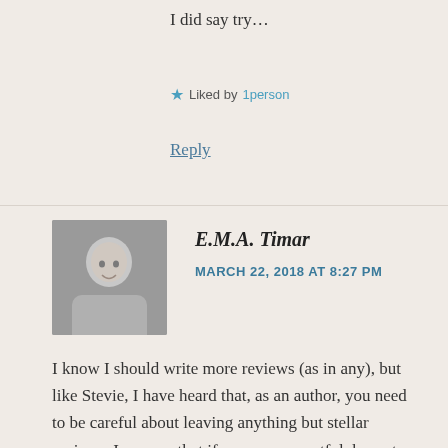I did say try…
★ Liked by 1person
Reply
E.M.A. Timar
MARCH 22, 2018 AT 8:27 PM
[Figure (photo): Black and white avatar photo of E.M.A. Timar, a young woman smiling]
I know I should write more reviews (as in any), but like Stevie, I have heard that, as an author, you need to be careful about leaving anything but stellar reviews. I assume that if you are respectful, honest, and constructive it shouldn't be a problem. However, as someone who has never written any, it makes me more nervous about doing so (even